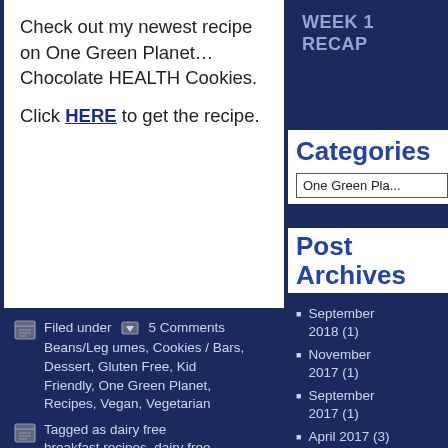Check out my newest recipe on One Green Planet…Chocolate HEALTH Cookies.
Click HERE to get the recipe.
WEEK 1 RECAP
Categories
One Green Pla...
Post Archives
Filed under  5 Comments Beans/Legumes, Cookies / Bars, Dessert, Gluten Free, Kid Friendly, One Green Planet, Recipes, Vegan, Vegetarian
Tagged as dairy free breakfast recipes, dairy free cookie recipes, healthy chocolate cookie recipe, vegan breakfast recipes, vegan chocolate cookie recipe, vegan cookie
September 2018 (1)
November 2017 (1)
September 2017 (1)
April 2017 (3)
June 2016 (1)
May 2016 (1)
April 2016 (2)
March 2016 (3)